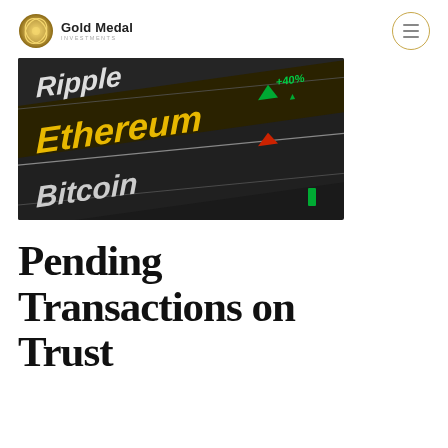Gold Medal Investments
[Figure (photo): Dark digital trading board showing cryptocurrency names: Ripple (white), Ethereum (gold/yellow), Bitcoin (white), with green and red arrow indicators for price movements]
Pending Transactions on Trust